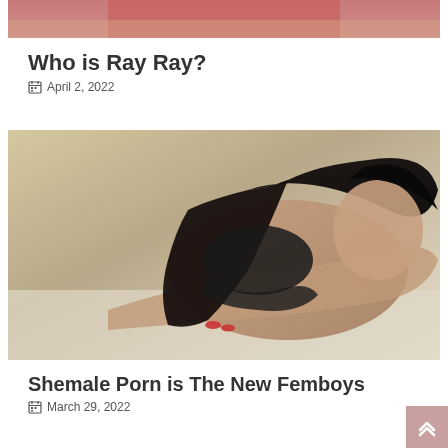[Figure (photo): Partial view of a woman in red lingerie, cropped at top of page]
Who is Ray Ray?
April 2, 2022
[Figure (photo): Woman with long dark hair wearing black lingerie, lying down posing for camera]
Shemale Porn is The New Femboys
March 29, 2022